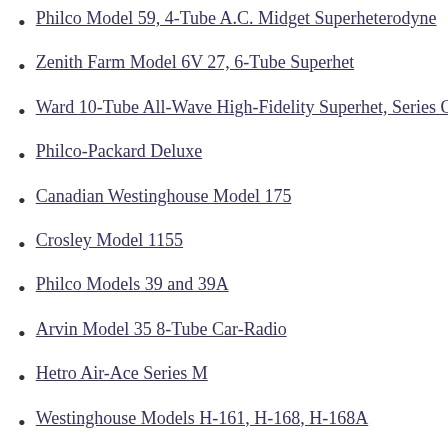Philco Model 59, 4-Tube A.C. Midget Superheterodyne
Zenith Farm Model 6V 27, 6-Tube Superhet
Ward 10-Tube All-Wave High-Fidelity Superhet, Series O
Philco-Packard Deluxe
Canadian Westinghouse Model 175
Crosley Model 1155
Philco Models 39 and 39A
Arvin Model 35 8-Tube Car-Radio
Hetro Air-Ace Series M
Westinghouse Models H-161, H-168, H-168A
Garod Model 5A4